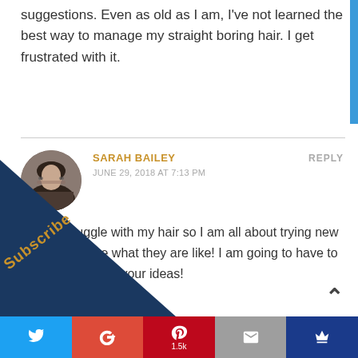suggestions. Even as old as I am, I've not learned the best way to manage my straight boring hair. I get frustrated with it.
SARAH BAILEY
JUNE 29, 2018 AT 7:13 PM
REPLY
I really struggle with my hair so I am all about trying new products to see what they are like! I am going to have to look into some of your ideas!